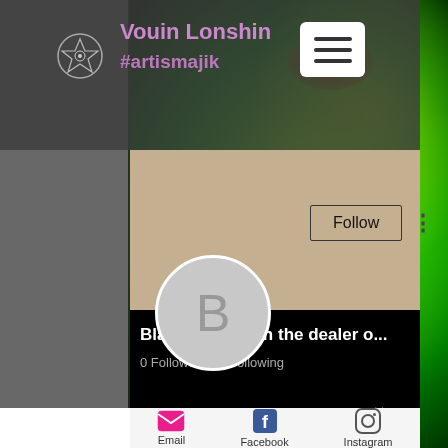[Figure (screenshot): Mobile app/website screenshot showing Vouin Lonshin #artismajik profile page with green fractal background, user profile 'Blackjack match the dealer o...', 0 Followers, 0 Following, with Follow button, and bottom navigation icons for Email, Facebook, Instagram]
Vouin Lonshin
#artismajik
Blackjack match the dealer o...
0 Followers • 0 Following
Email
Facebook
Instagram